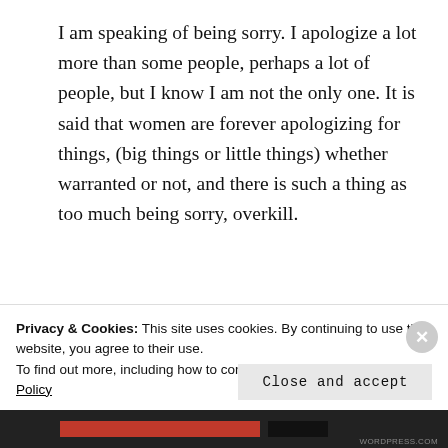I am speaking of being sorry. I apologize a lot more than some people, perhaps a lot of people, but I know I am not the only one. It is said that women are forever apologizing for things, (big things or little things) whether warranted or not, and there is such a thing as too much being sorry, overkill.
This will all make sense, by the end
Privacy & Cookies: This site uses cookies. By continuing to use this website, you agree to their use.
To find out more, including how to control cookies, see here: Cookie Policy
Close and accept